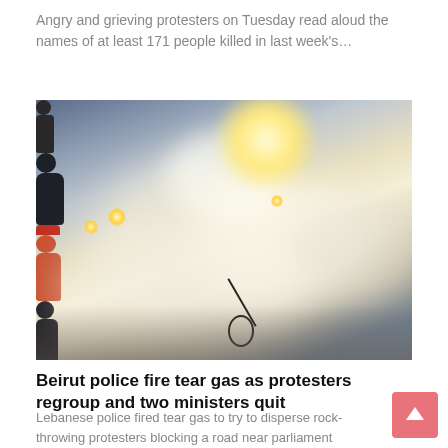Angry and grieving protesters on Tuesday read aloud the names of at least 171 people killed in last week's…
[Figure (photo): Protesters running through thick white tear gas smoke on a street at night, one person holding a badminton racket, others running in the background amid hazy lights and smoke]
Beirut police fire tear gas as protesters regroup and two ministers quit
Lebanese police fired tear gas to try to disperse rock-throwing protesters blocking a road near parliament in…